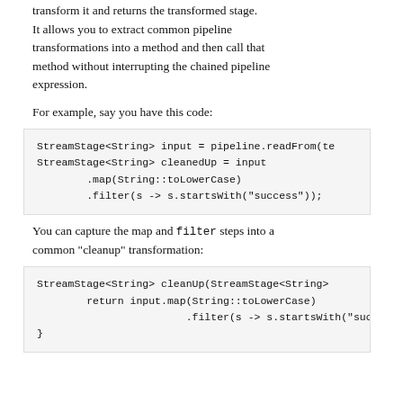transform it and returns the transformed stage. It allows you to extract common pipeline transformations into a method and then call that method without interrupting the chained pipeline expression.
For example, say you have this code:
StreamStage<String> input = pipeline.readFrom(te
StreamStage<String> cleanedUp = input
        .map(String::toLowerCase)
        .filter(s -> s.startsWith("success"));
You can capture the map and filter steps into a common "cleanup" transformation:
StreamStage<String> cleanUp(StreamStage<String>
        return input.map(String::toLowerCase)
                        .filter(s -> s.startsWith("succ
}